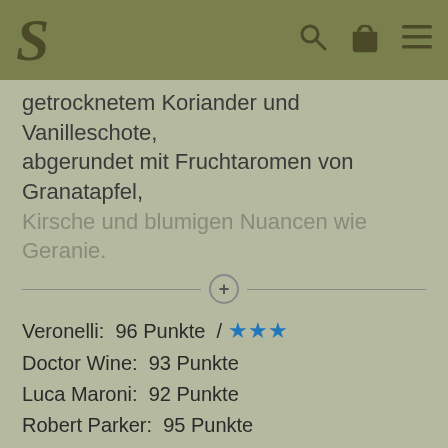S [logo] with search, basket, menu icons
getrocknetem Koriander und Vanilleschote, abgerundet mit Fruchtaromen von Granatapfel, Kirsche und blumigen Nuancen wie Geranie.
Veronelli: 96 Punkte / ★★★
Doctor Wine: 93 Punkte
Luca Maroni: 92 Punkte
Robert Parker: 95 Punkte
James Suckling: 93 Punkte
Rebsorten: 70% Syrah, 30% Grenache
Anbau: konventionell
Ausbau: 16 Monate 70/30 Betonei/neues Barrique
vegane Klärung: Ja
Filtration: Nein
Alkoholgehalt: 14,50 % vol
Gesamtextrakt: 32,25 g/l